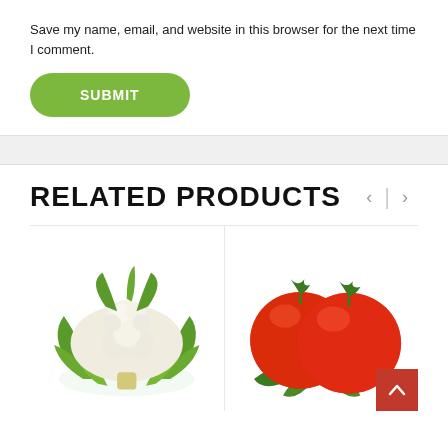Save my name, email, and website in this browser for the next time I comment.
[Figure (illustration): Green rounded rectangle submit button with white bold uppercase text 'SUBMIT']
RELATED PRODUCTS
[Figure (photo): A fresh cauliflower with green leaves on white background]
[Figure (photo): Two red ripe tomatoes with green stems and leaves on white background]